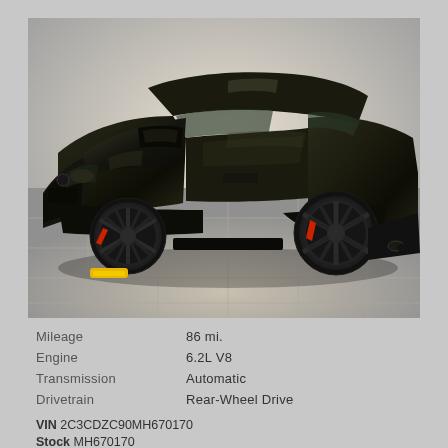[Figure (photo): Black Dodge Challenger muscle car photographed from a front three-quarter angle on a tiled surface. The car is dark/black in color with dark alloy wheels, red brake calipers, and a yellow parking chock visible under the front bumper.]
| Mileage | 86 mi. |
| Engine | 6.2L V8 |
| Transmission | Automatic |
| Drivetrain | Rear-Wheel Drive |
VIN 2C3CDZC90MH670170
Stock MH670170